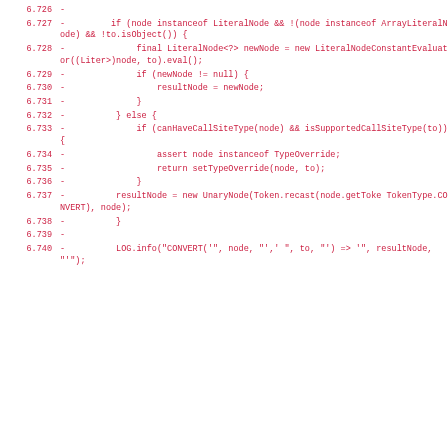Code diff showing lines 6.726 through 6.740 with removed lines (prefixed with -) in a Java/JavaScript source file dealing with node type handling and conversion logic.